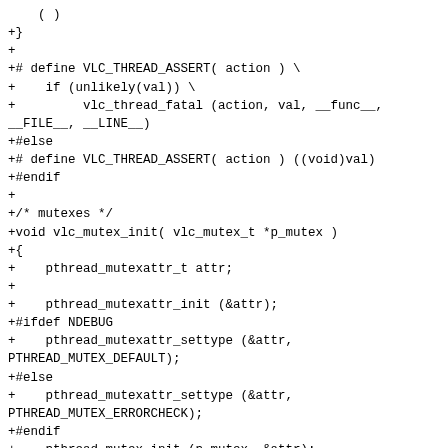+}
+
+# define VLC_THREAD_ASSERT( action ) \
+     if (unlikely(val)) \
+          vlc_thread_fatal (action, val, __func__, __FILE__, __LINE__)
+#else
+# define VLC_THREAD_ASSERT( action ) ((void)val)
+#endif
+
+/* mutexes */
+void vlc_mutex_init( vlc_mutex_t *p_mutex )
+{
+     pthread_mutexattr_t attr;
+
+     pthread_mutexattr_init (&attr);
+#ifdef NDEBUG
+     pthread_mutexattr_settype (&attr, PTHREAD_MUTEX_DEFAULT);
+#else
+     pthread_mutexattr_settype (&attr, PTHREAD_MUTEX_ERRORCHECK);
+#endif
+     pthread_mutex_init (p_mutex, &attr);
+     pthread_mutexattr_destroy( &attr );
+}
+
+void vlc_mutex_init_recursive( vlc_mutex_t *p_mutex )
+{
+     pthread_mutexattr_t attr;